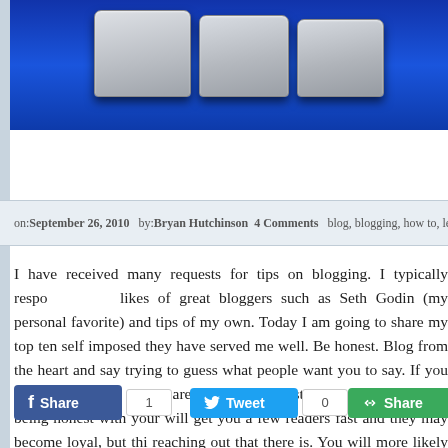[Figure (photo): Close-up photo of computer keyboard keys on a blue background]
on: September 26, 2010  by: Bryan Hutchinson  4 Comments  blog, blogging, how to, less
I have received many requests for tips on blogging. I typically respo... likes of great bloggers such as Seth Godin (my personal favorite) and tips of my own. Today I am going to share my top ten self imposed they have served me well. Be honest. Blog from the heart and say trying to guess what people want you to say. If you are trying to say w you are not being honest with yourself and not being honest with your will get you a few readers fast and they may become loyal, but thi reaching out that there is. You will more likely repel the rest of the [...]
[Figure (screenshot): Social sharing buttons: Facebook Share with count 1, Tweet with count 0, Google+ Share with count 9]